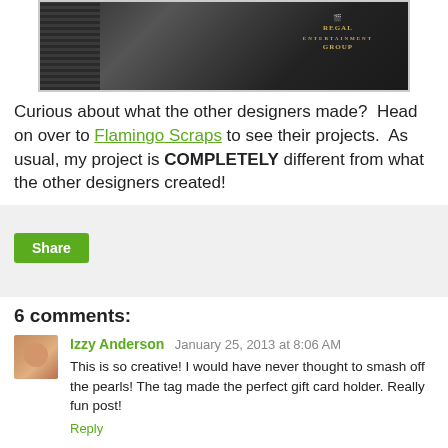[Figure (photo): Photo of a dark Regal Entertainment Group gift card holder, showing the black card with logo and striped background]
Curious about what the other designers made?  Head on over to Flamingo Scraps to see their projects.  As usual, my project is COMPLETELY different from what the other designers created!
[Figure (other): Share button area with light gray background and green Share button]
6 comments:
Izzy Anderson  January 25, 2013 at 8:06 AM
This is so creative! I would have never thought to smash off the pearls! The tag made the perfect gift card holder. Really fun post!
Reply